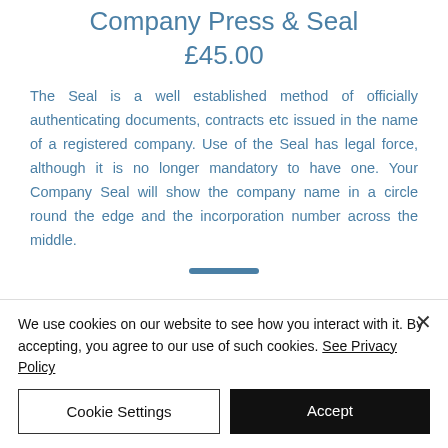Company Press & Seal
£45.00
The Seal is a well established method of officially authenticating documents, contracts etc issued in the name of a registered company. Use of the Seal has legal force, although it is no longer mandatory to have one. Your Company Seal will show the company name in a circle round the edge and the incorporation number across the middle.
We use cookies on our website to see how you interact with it. By accepting, you agree to our use of such cookies. See Privacy Policy